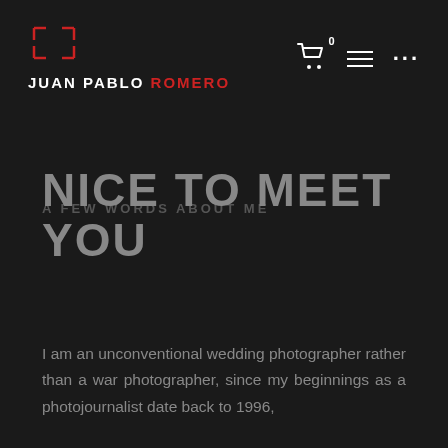JUAN PABLO ROMERO
A FEW WORDS ABOUT ME
NICE TO MEET YOU
I am an unconventional wedding photographer rather than a war photographer, since my beginnings as a photojournalist date back to 1996,